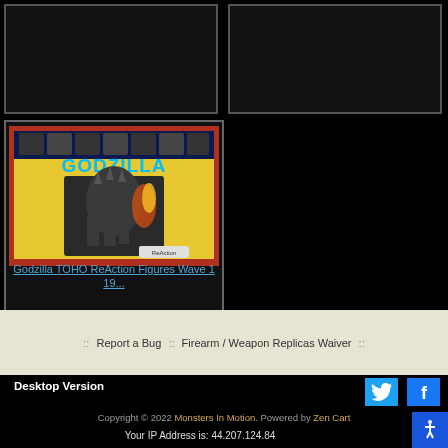[Figure (photo): Empty product cell top left]
[Figure (photo): Empty product cell top right]
[Figure (photo): Godzilla TOHO ReAction Figures Wave 1 product image showing figure in packaging with GODZILLA branding]
Godzilla TOHO ReAction Figures Wave 1 19...
:: Report a Bug :: Firearm / Weapon Replicas Waiver ::
Desktop Version
[Figure (logo): Twitter icon]
[Figure (logo): Facebook icon]
Copyright © 2022 Monsters In Motion. Powered by Zen Cart
Your IP Address is: 44.207.124.84